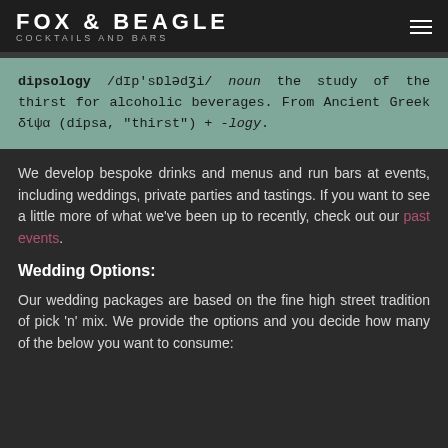FOX & BEAGLE
COCKTAILS AND BARS
dipsology /dɪp'sɒlədʒi/ noun the study of the thirst for alcoholic beverages. From Ancient Greek δίψα (dípsa, "thirst") + -logy.
We develop bespoke drinks and menus and run bars at events, including weddings, private parties and tastings. If you want to see a little more of what we've been up to recently, check out our past events.
Wedding Options:
Our wedding packages are based on the fine high street tradition of pick 'n' mix. We provide the options and you decide how many of the below you want to consume: